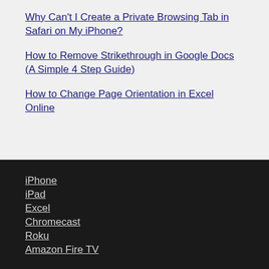Why Can't I Create a Private Browsing Tab in Safari on My iPhone?
How to Remove Strikethrough in Google Docs (A Simple 4 Step Guide)
How to Change Page Orientation in Excel Online
iPhone
iPad
Excel
Chromecast
Roku
Amazon Fire TV